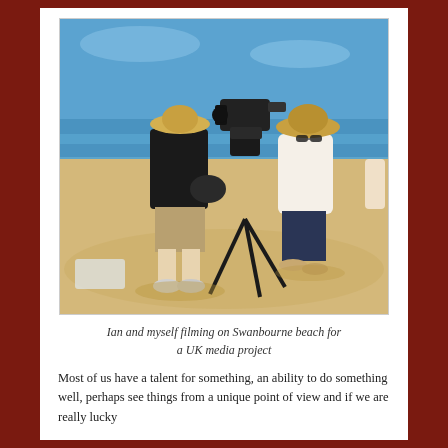[Figure (photo): A cameraman wearing a straw hat and black shirt films a woman in a straw hat and white t-shirt standing on Swanbourne beach on a sunny day. A professional video camera is mounted on a tripod. Blue ocean and sky visible in the background.]
Ian and myself filming on Swanbourne beach for a UK media project
Most of us have a talent for something, an ability to do something well, perhaps see things from a unique point of view and if we are really lucky